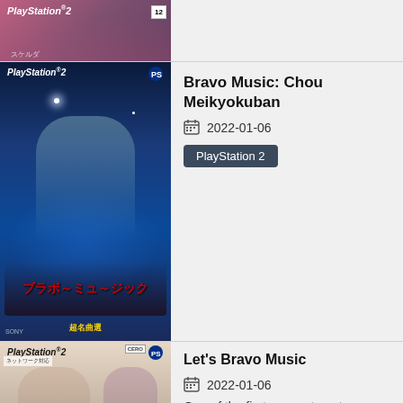[Figure (photo): Top partial game cover - partially visible, appears to be a different game with pink/purple tones and a CERO 12 rating badge]
[Figure (photo): PlayStation 2 game cover for Bravo Music: Chou Meikyokuban - shows anime girl conducting on a space/Earth background with Japanese text]
Bravo Music: Chou Meikyokuban
2022-01-06
PlayStation 2
[Figure (photo): PlayStation 2 game cover for Let's Bravo Music - shows anime characters on light background with network play note]
Let's Bravo Music
2022-01-06
One of the first games to get a CERO rating.
PlayStation 2